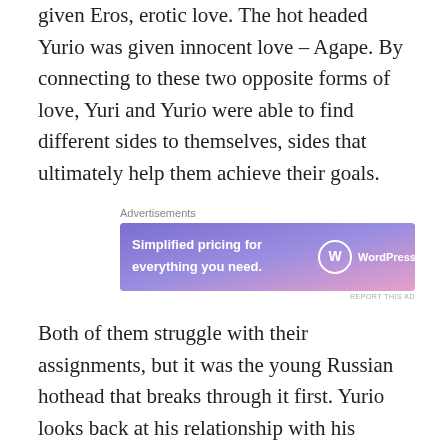given Eros, erotic love. The hot headed Yurio was given innocent love – Agape. By connecting to these two opposite forms of love, Yuri and Yurio were able to find different sides to themselves, sides that ultimately help them achieve their goals.
[Figure (other): WordPress.com advertisement banner with gradient blue-pink background. Text reads 'Simplified pricing for everything you need.' with WordPress.com logo.]
Both of them struggle with their assignments, but it was the young Russian hothead that breaks through it first. Yurio looks back at his relationship with his grandfather, and the unconditional love and support given to him throughout his life. He uses his emotions to transform himself, he is no longer the erratic, spark plug of the ice skating world. In both his routines, he becomes a prima ballerina telling a story of tenderness, and sweet kind love,